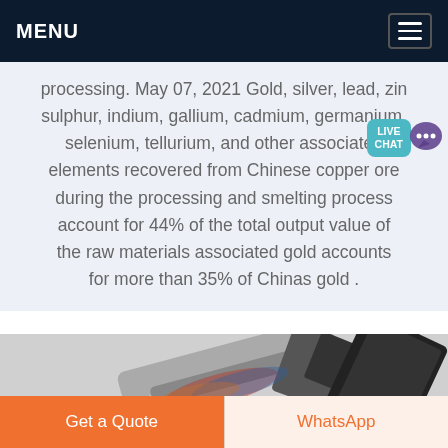MENU
processing. May 07, 2021 Gold, silver, lead, zin sulphur, indium, gallium, cadmium, germanium, selenium, tellurium, and other associated elements recovered from Chinese copper ore during the processing and smelting process account for 44% of the total output value of the raw materials associated gold accounts for more than 35% of Chinas gold .
[Figure (photo): Photo of industrial mining or ore processing machinery, partially visible at bottom of page]
Get a Quote
WhatsApp